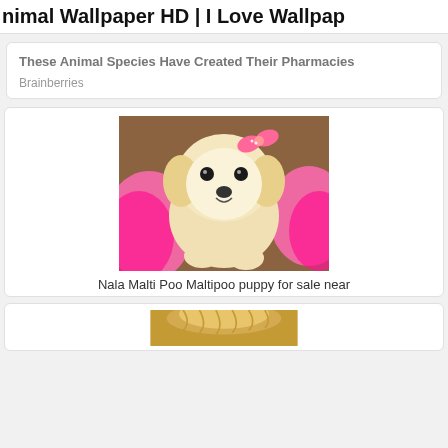Animal Wallpaper HD | I Love Wallpap
These Animal Species Have Created Their Pharmacies
Brainberries
[Figure (photo): A small fluffy Maltipoo puppy with a pink bow, sitting on a fur surface surrounded by pink material]
Nala Malti Poo Maltipoo puppy for sale near
[Figure (photo): Partial view of a dog's face, appears to be a golden/tan colored dog]